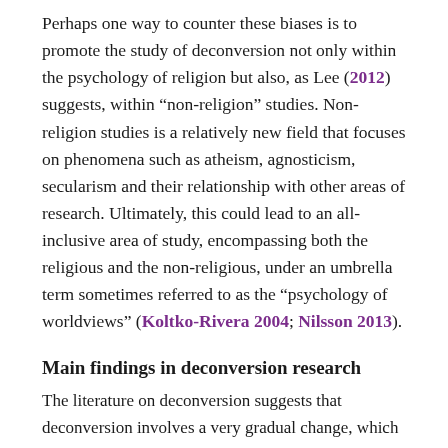Perhaps one way to counter these biases is to promote the study of deconversion not only within the psychology of religion but also, as Lee (2012) suggests, within “non-religion” studies. Non-religion studies is a relatively new field that focuses on phenomena such as atheism, agnosticism, secularism and their relationship with other areas of research. Ultimately, this could lead to an all-inclusive area of study, encompassing both the religious and the non-religious, under an umbrella term sometimes referred to as the “psychology of worldviews” (Koltko-Rivera 2004; Nilsson 2013).
Main findings in deconversion research
The literature on deconversion suggests that deconversion involves a very gradual change, which